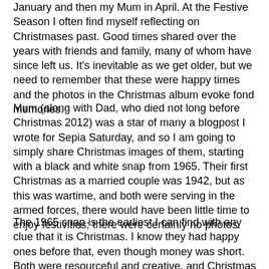January and then my Mum in April. At the Festive Season I often find myself reflecting on Christmases past. Good times shared over the years with friends and family, many of whom have since left us. It's inevitable as we get older, but we need to remember that these were happy times and the photos in the Christmas album evoke fond memories.
Mum (along with Dad, who died not long before Christmas 2012) was a star of many a blogpost I wrote for Sepia Saturday, and so I am going to simply share Christmas images of them, starting with a black and white snap from 1965. Their first Christmas as a married couple was 1942, but as this was wartime, and both were serving in the armed forces, there would have been little time to enjoy festivities; there were certainly no photos.
The 1965 snap is the earliest I can find with any clue that it is Christmas. I know they had happy ones before that, even though money was short. Both were resourceful and creative, and Christmas decorations would be fashioned from found objects, natural and otherwise. They would often join us for Christmas, travelling to Germany when we were stationed there with the RAF in the early 1980s, and in more recent years to Lanzarote, where we now live, for a different kind of Christmas, in the sun.